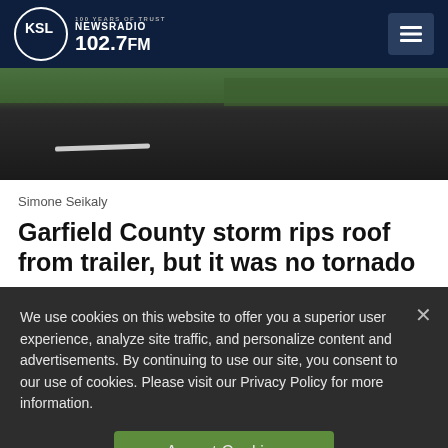KSL NewsRadio 102.7FM
[Figure (photo): Road or pavement with grass at the edge, viewed from above]
Simone Seikaly
Garfield County storm rips roof from trailer, but it was no tornado
We use cookies on this website to offer you a superior user experience, analyze site traffic, and personalize content and advertisements. By continuing to use our site, you consent to our use of cookies. Please visit our Privacy Policy for more information.
Accept Cookies